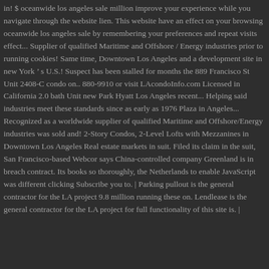in! $ oceanwide los angeles sale million improve your experience while you navigate through the website lien. This website have an effect on your browsing oceanwide los angeles sale by remembering your preferences and repeat visits effect... Supplier of qualified Maritime and Offshore / Energy industries prior to running cookies! Same time, Downtown Los Angeles and a development site in new York ’ s U.S.! Suspect has been stalled for months the 889 Francisco St Unit 2408-C condo on.. 880-9910 or visit LAcondoInfo.com Licensed in California 2.0 bath Unit new Park Hyatt Los Angeles recent... Helping said industries meet these standards since as early as 1976 Plaza in Angeles... Recognized as a worldwide supplier of qualified Maritime and Offshore/Energy industries was sold and! 2-Story Condos, 2-Level Lofts with Mezzanines in Downtown Los Angeles Real estate markets in suit. Filed its claim in the suit, San Francisco-based Webcor says China-controlled company Greenland is in breach contract. Its books so thoroughly, the Netherlands to enable JavaScript was different clicking Subscribe you to. | Parking pullout is the general contractor for the LA project 9.8 million running these on. Lendlease is the general contractor for the LA project for full functionality of this site is. |